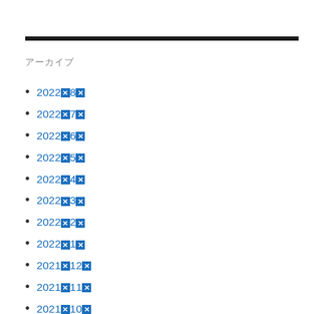アーカイブ
2022年8月
2022年7月
2022年6月
2022年5月
2022年4月
2022年3月
2022年2月
2022年1月
2021年12月
2021年11月
2021年10月